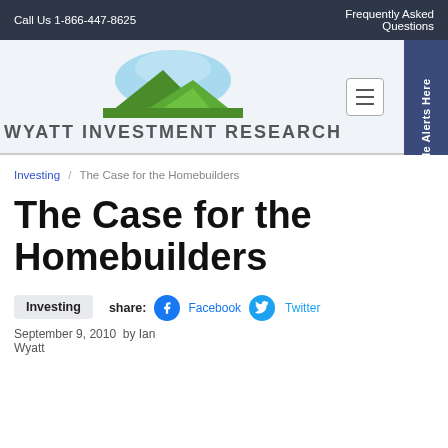Call Us 1-866-447-8625   Frequently Asked Questions
[Figure (logo): Wyatt Investment Research logo with mountain and sky graphic]
Investing / The Case for the Homebuilders
The Case for the Homebuilders
Investing   share: Facebook Twitter
September 9, 2010  by Ian Wyatt